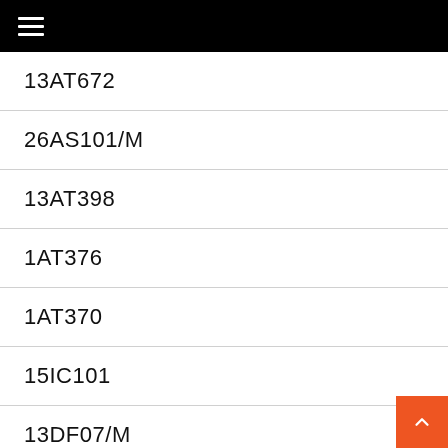≡
13AT672
26AS101/M
13AT398
1AT376
1AT370
15IC101
13DF07/M
19FB021
161BD384